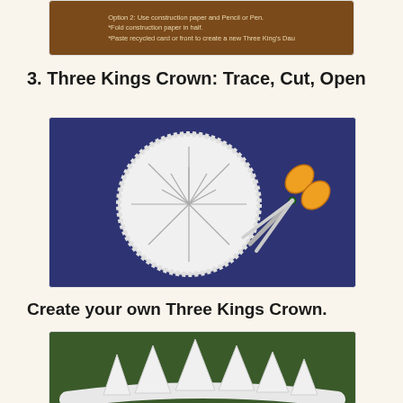[Figure (photo): Partial top image showing text on a dark brown/wooden background with craft instructions including options for construction paper and paint, partially cut off at top of page.]
3. Three Kings Crown: Trace, Cut, Open
[Figure (photo): Photo of a white paper plate with pencil lines drawn radiating from center like a starburst/snowflake pattern on a dark blue/purple background, with orange-handled scissors placed to the right of the plate.]
Create your own Three Kings Crown.
[Figure (photo): Photo of a completed Three Kings Crown made from a paper plate, showing white triangular crown points folded upward, on a green background.]